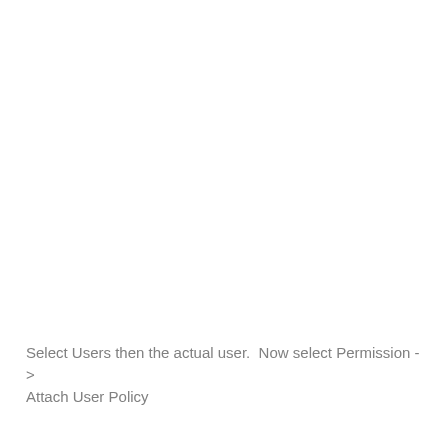Select Users then the actual user.  Now select Permission -> Attach User Policy